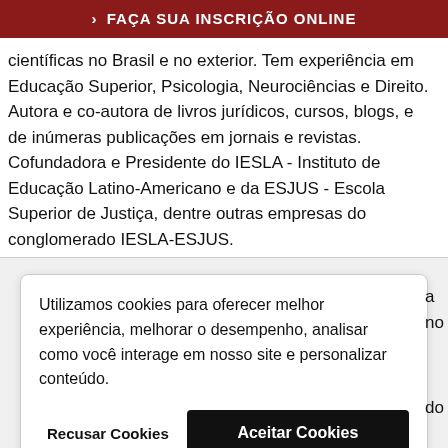> FAÇA SUA INSCRIÇÃO ONLINE
científicas no Brasil e no exterior. Tem experiência em Educação Superior, Psicologia, Neurociências e Direito. Autora e co-autora de livros jurídicos, cursos, blogs, e de inúmeras publicações em jornais e revistas. Cofundadora e Presidente do IESLA - Instituto de Educação Latino-Americano e da ESJUS - Escola Superior de Justiça, dentre outras empresas do conglomerado IESLA-ESJUS.
Utilizamos cookies para oferecer melhor experiência, melhorar o desempenho, analisar como você interage em nosso site e personalizar conteúdo.
Recusar Cookies
Aceitar Cookies